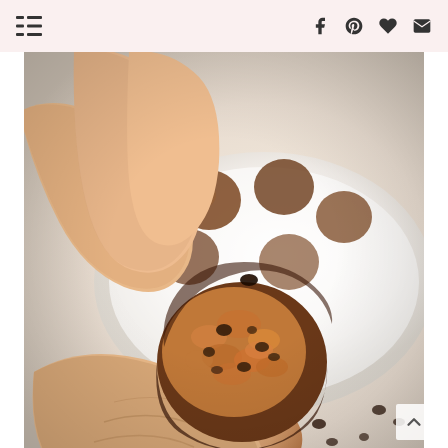Navigation menu and social sharing icons (Facebook, Pinterest, Favorite, Email)
[Figure (photo): Close-up photo of a hand holding a no-bake energy ball (cookie dough ball with chocolate chips) that has been bitten in half, revealing the oat and chocolate chip interior. A white plate with more energy balls and scattered chocolate chips is visible in the background.]